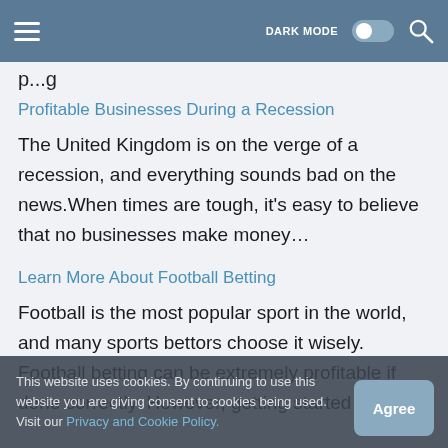DARK MODE [toggle] [search]
p...g
Profitable Businesses During a Recession
The United Kingdom is on the verge of a recession, and everything sounds bad on the news.When times are tough, it's easy to believe that no businesses make money…
Learn More About Football Betting
Football is the most popular sport in the world, and many sports bettors choose it wisely. Football betting can be extremely profitable if done correctly. However, getting started with…
This website uses cookies. By continuing to use this website you are giving consent to cookies being used. Visit our Privacy and Cookie Policy.